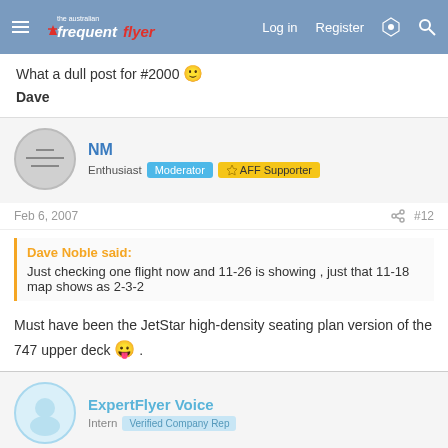the australian frequentflyer | Log in | Register
What a dull post for #2000 🙂
Dave
NM
Enthusiast  Moderator  AFF Supporter
Feb 6, 2007  #12
Dave Noble said:
Just checking one flight now and 11-26 is showing , just that 11-18 map shows as 2-3-2
Must have been the JetStar high-density seating plan version of the 747 upper deck 😛 .
ExpertFlyer Voice
Intern  Verified Company Rep